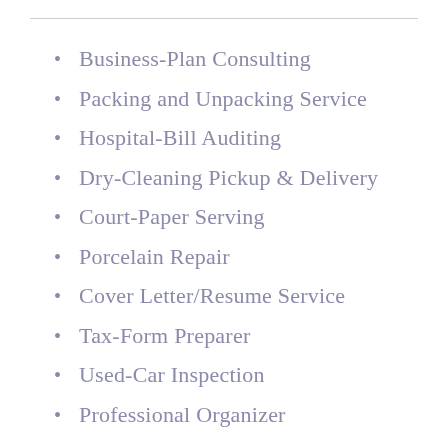Business-Plan Consulting
Packing and Unpacking Service
Hospital-Bill Auditing
Dry-Cleaning Pickup & Delivery
Court-Paper Serving
Porcelain Repair
Cover Letter/Resume Service
Tax-Form Preparer
Used-Car Inspection
Professional Organizer